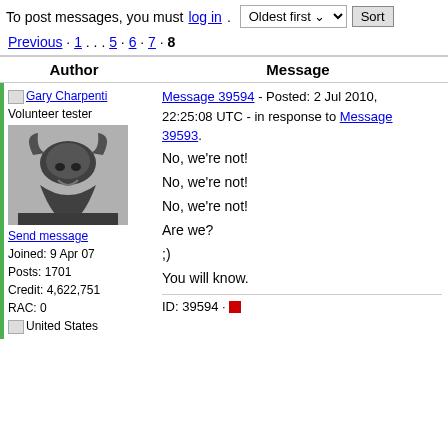To post messages, you must log in. Oldest first [dropdown] Sort
Previous · 1 . . . 5 · 6 · 7 · 8
| Author | Message |
| --- | --- |
| [Profile] Gary Charpentier
Volunteer tester
[avatar image]
Send message
Joined: 9 Apr 07
Posts: 1701
Credit: 4,622,751
RAC: 0
[United States] | Message 39594 - Posted: 2 Jul 2010, 22:25:08 UTC - in response to Message 39593.

No, we're not!

No, we're not!

No, we're not!

Are we?

;)

You will know.

ID: 39594 · [report icon] |